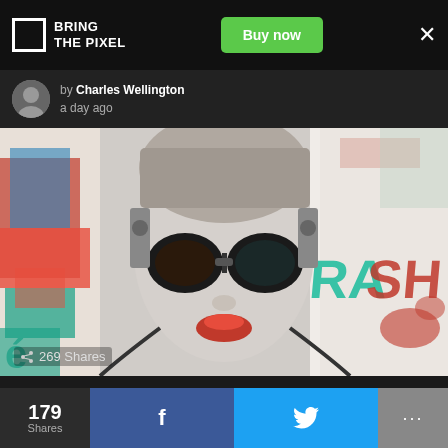BRING THE PIXEL | Buy now | ×
by Charles Wellington
a day ago
[Figure (illustration): Cyberpunk/pop-art style digital illustration of a woman's face with mechanical elements, round goggles, red lips, and colorful overlaid text including 'TRASH'. Collage aesthetic with red, teal, and white color scheme.]
269 Shares
17 Cats That Don't Understand What Balanced Diet Is
179 Shares | f | 🐦 | ...